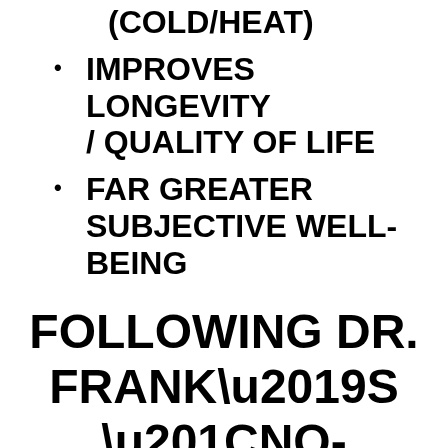(COLD/HEAT)
IMPROVES LONGEVITY / QUALITY OF LIFE
FAR GREATER SUBJECTIVE WELL-BEING
FOLLOWING DR. FRANK’S “NO-AGING” DIET